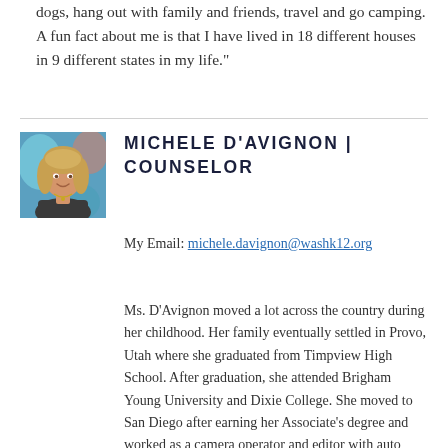dogs, hang out with family and friends, travel and go camping. A fun fact about me is that I have lived in 18 different houses in 9 different states in my life."
[Figure (photo): Headshot photo of Michele D'Avignon, a woman with wavy blonde hair, smiling, wearing a dark top with a necklace, in front of a colorful background.]
MICHELE D'AVIGNON | COUNSELOR
My Email: michele.davignon@washk12.org
Ms. D'Avignon moved a lot across the country during her childhood. Her family eventually settled in Provo, Utah where she graduated from Timpview High School. After graduation, she attended Brigham Young University and Dixie College. She moved to San Diego after earning her Associate's degree and worked as a camera operator and editor with auto racing for ESPN. She eventually...